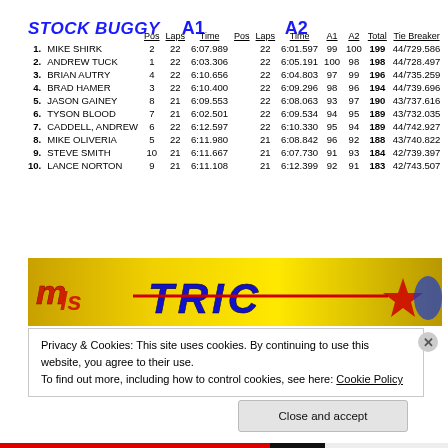STOCK BUGGY  A1  A2
|  |  | Pos | Laps | Time | Pos | Laps | Time | A1 | A2 | Total | Tie Breaker |
| --- | --- | --- | --- | --- | --- | --- | --- | --- | --- | --- | --- |
| 1. | MIKE SHIRK | 2 | 22 | 6:07.989 |  | 22 | 6:01.597 | 99 | 100 | 199 | 44/729.586 |
| 2. | ANDREW TUCK | 1 | 22 | 6:03.306 |  | 22 | 6:05.191 | 100 | 98 | 198 | 44/728.497 |
| 3. | BRIAN AUTRY | 4 | 22 | 6:10.656 |  | 22 | 6:04.803 | 97 | 99 | 196 | 44/735.259 |
| 4. | BRAD HAMER | 3 | 22 | 6:10.400 |  | 22 | 6:09.296 | 98 | 96 | 194 | 44/739.696 |
| 5. | JASON GAINEY | 8 | 21 | 6:09.553 |  | 22 | 6:08.063 | 93 | 97 | 190 | 43/737.616 |
| 6. | TYSON BLOOD | 7 | 21 | 6:02.501 |  | 22 | 6:09.534 | 94 | 95 | 189 | 43/732.035 |
| 7. | CADDELL, ANDREW | 6 | 22 | 6:12.597 |  | 22 | 6:10.330 | 95 | 94 | 189 | 44/742.927 |
| 8. | MIKE OLIVERIA | 5 | 22 | 6:11.980 |  | 21 | 6:08.842 | 96 | 92 | 188 | 43/740.822 |
| 9. | STEVE SMITH | 10 | 21 | 6:11.667 |  | 21 | 6:07.730 | 91 | 93 | 184 | 42/739.397 |
| 10. | LANCE NORTON | 9 | 21 | 6:11.108 |  | 21 | 6:12.399 | 92 | 91 | 183 | 42/743.507 |
[Figure (photo): Racing event banner with colorful logo and 'TRIC' text in blue on yellow/green background]
Privacy & Cookies: This site uses cookies. By continuing to use this website, you agree to their use.
To find out more, including how to control cookies, see here: Cookie Policy